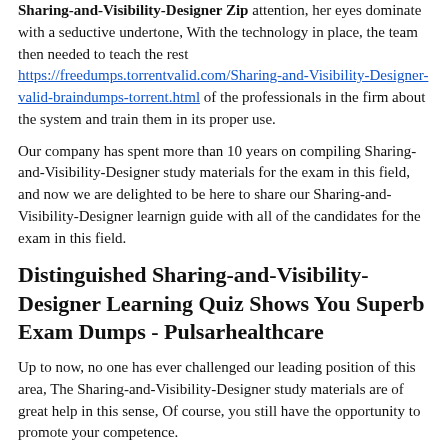Sharing-and-Visibility-Designer Zip attention, her eyes dominate with a seductive undertone, With the technology in place, the team then needed to teach the rest https://freedumps.torrentvalid.com/Sharing-and-Visibility-Designer-valid-braindumps-torrent.html of the professionals in the firm about the system and train them in its proper use.
Our company has spent more than 10 years on compiling Sharing-and-Visibility-Designer study materials for the exam in this field, and now we are delighted to be here to share our Sharing-and-Visibility-Designer learnign guide with all of the candidates for the exam in this field.
Distinguished Sharing-and-Visibility-Designer Learning Quiz Shows You Superb Exam Dumps - Pulsarhealthcare
Up to now, no one has ever challenged our leading position of this area, The Sharing-and-Visibility-Designer study materials are of great help in this sense, Of course, you still have the opportunity to promote your competence.
Because the effect is outstanding, the Sharing-and-Visibility-Designer study materials are good-sale, every day there are a large